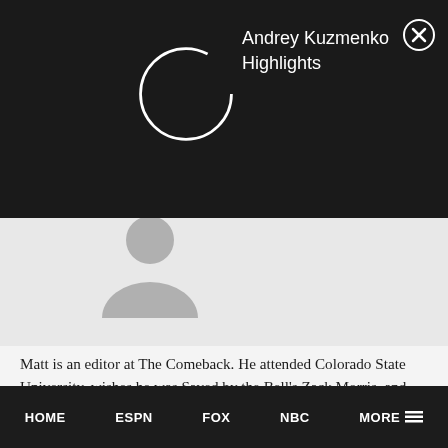[Figure (screenshot): Video player overlay showing a circular loading spinner/avatar and the title 'Andrey Kuzmenko Highlights' on a dark background with a close button]
[Figure (illustration): Gray silhouette of a person (default profile avatar)]
Matt is an editor at The Comeback. He attended Colorado State University, wishes he was Saved by the Bell's Zack Morris, and idolizes Larry David. And loves pizza and dogs because obviously.

He can be followed on Twitter at @Matt2Clapp (also @TheBlogfines for Cubs/MLB tweets and @DaBearNecess for Bears/NFL tweets), and can
HOME   ESPN   FOX   NBC   MORE ☰